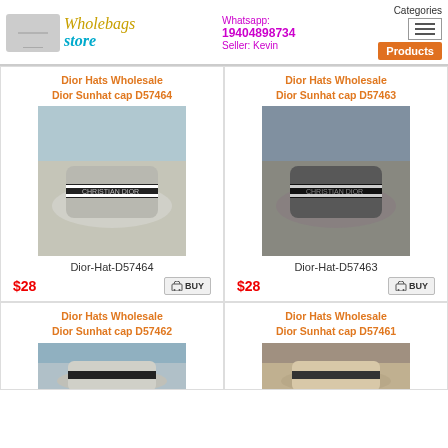Wholebags Store — Whatsapp: 19404898734 Seller: Kevin — Categories | Products
Dior Hats Wholesale
Dior Sunhat cap D57464
[Figure (photo): Gray Dior bucket hat on round display stand]
Dior-Hat-D57464
$28
Dior Hats Wholesale
Dior Sunhat cap D57463
[Figure (photo): Dark/black Dior bucket hat on round display stand]
Dior-Hat-D57463
$28
Dior Hats Wholesale
Dior Sunhat cap D57462
Dior Hats Wholesale
Dior Sunhat cap D57461